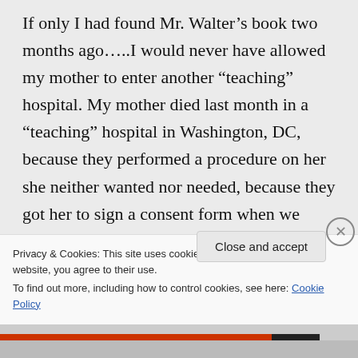If only I had found Mr. Walter's book two months ago…..I would never have allowed my mother to enter another “teaching” hospital. My mother died last month in a “teaching” hospital in Washington, DC, because they performed a procedure on her she neither wanted nor needed, because they got her to sign a consent form when we were not around to tell her we
Privacy & Cookies: This site uses cookies. By continuing to use this website, you agree to their use.
To find out more, including how to control cookies, see here: Cookie Policy